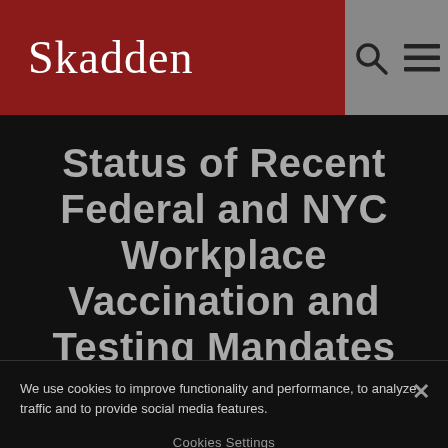Skadden
Status of Recent Federal and NYC Workplace Vaccination and Testing Mandates
We use cookies to improve functionality and performance, to analyze traffic and to provide social media features.
Cookies Settings
Reject All Cookies